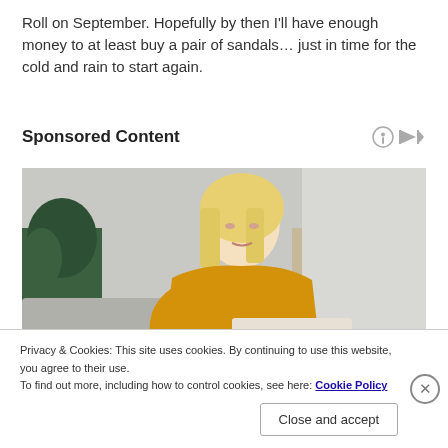Roll on September. Hopefully by then I'll have enough money to at least buy a pair of sandals… just in time for the cold and rain to start again.
Sponsored Content
[Figure (photo): A blonde woman in a yellow knitted sweater looking down, possibly at paperwork or a device, in a light interior setting.]
Privacy & Cookies: This site uses cookies. By continuing to use this website, you agree to their use.
To find out more, including how to control cookies, see here: Cookie Policy
Close and accept